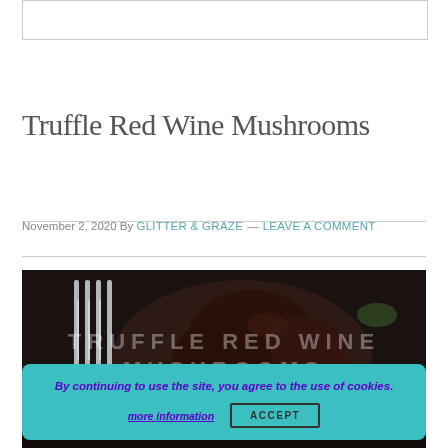[Figure (other): Top banner/advertisement placeholder box with border]
Truffle Red Wine Mushrooms
November 2, 2020 By GLITTER & GRAZE — LEAVE A COMMENT
[Figure (photo): Close-up food photo of dark red wine mushrooms on a fork, with overlaid text 'TRUFFLE RED WINE MUSHROOMS' in large semi-transparent white letters]
By continuing to use the site, you agree to the use of cookies. more information   ACCEPT